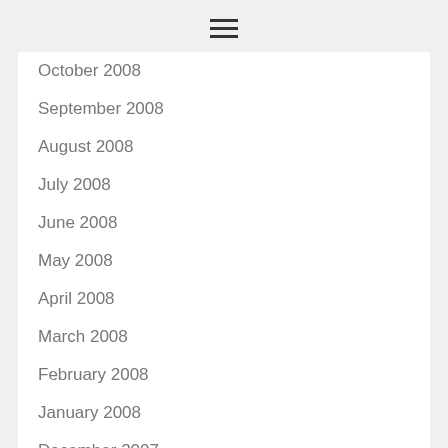☰
October 2008
September 2008
August 2008
July 2008
June 2008
May 2008
April 2008
March 2008
February 2008
January 2008
December 2007
November 2007
October 2007
September 2007